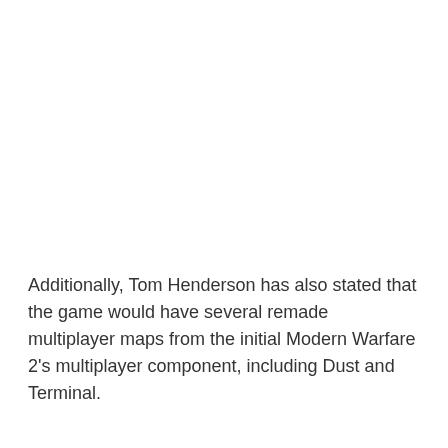Additionally, Tom Henderson has also stated that the game would have several remade multiplayer maps from the initial Modern Warfare 2's multiplayer component, including Dust and Terminal.